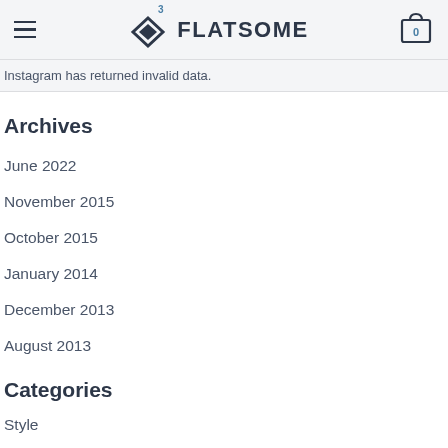FLATSOME
Instagram has returned invalid data.
Archives
June 2022
November 2015
October 2015
January 2014
December 2013
August 2013
Categories
Style